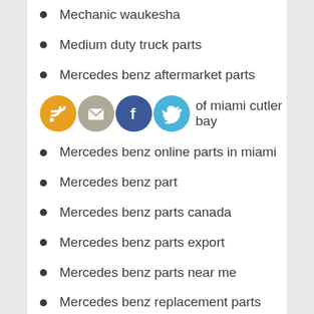Mechanic waukesha
Medium duty truck parts
Mercedes benz aftermarket parts
[Figure (infographic): Social media share buttons: RSS (orange), Email (grey/gold), Facebook (blue), Twitter (light blue), with partial text 'of miami cutler bay']
Mercedes benz online parts in miami
Mercedes benz part
Mercedes benz parts canada
Mercedes benz parts export
Mercedes benz parts near me
Mercedes benz replacement parts
Mercedes benz used parts
Mercedes oem parts online